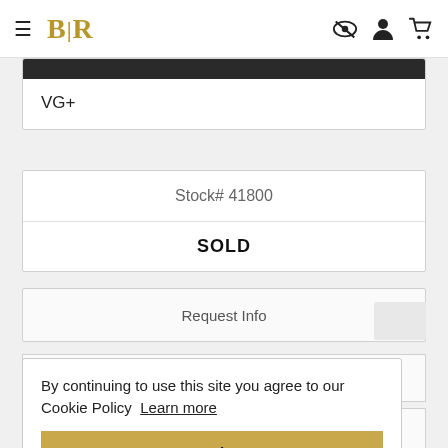BLR
VG+
Stock# 41800
SOLD
Request Info
Sell Us a Map
By continuing to use this site you agree to our Cookie Policy  Learn more
Add to Wishlist
Got it!
Print